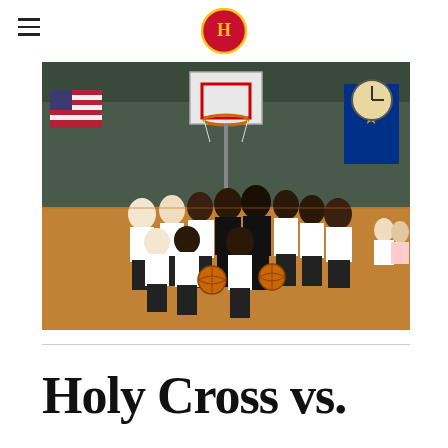Holy Cross High School — navigation header with logo
[Figure (photo): Group photo of basketball players inside a gymnasium. Players are wearing white t-shirts and black shorts. Two players hold basketballs. An American flag, Indiana state flag, scoreboard, and basketball hoop are visible in the background.]
Holy Cross vs.